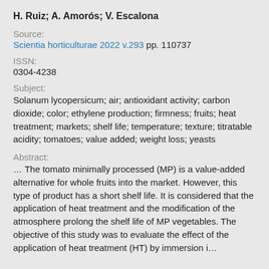H. Ruiz; A. Amorós; V. Escalona
Source:
Scientia horticulturae 2022 v.293 pp. 110737
ISSN:
0304-4238
Subject:
Solanum lycopersicum; air; antioxidant activity; carbon dioxide; color; ethylene production; firmness; fruits; heat treatment; markets; shelf life; temperature; texture; titratable acidity; tomatoes; value added; weight loss; yeasts
Abstract:
… The tomato minimally processed (MP) is a value-added alternative for whole fruits into the market. However, this type of product has a short shelf life. It is considered that the application of heat treatment and the modification of the atmosphere prolong the shelf life of MP vegetables. The objective of this study was to evaluate the effect of the application of heat treatment (HT) by immersion i…